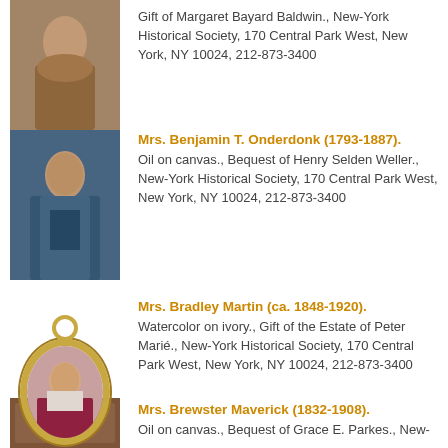[Figure (photo): Portrait painting of a woman in historical dress with brown/gold wrap, early 19th century style]
Gift of Margaret Bayard Baldwin., New-York Historical Society, 170 Central Park West, New York, NY 10024, 212-873-3400
[Figure (photo): Oil portrait of Mrs. Benjamin T. Onderdonk in blue dress, early 19th century]
Mrs. Benjamin T. Onderdonk (1793-1887). Oil on canvas., Bequest of Henry Selden Weller., New-York Historical Society, 170 Central Park West, New York, NY 10024, 212-873-3400
[Figure (photo): Oval miniature portrait of Mrs. Bradley Martin in gold frame with ring hanger, late 19th century]
Mrs. Bradley Martin (ca. 1848-1920). Watercolor on ivory., Gift of the Estate of Peter Marié., New-York Historical Society, 170 Central Park West, New York, NY 10024, 212-873-3400
[Figure (photo): Oil portrait of Mrs. Brewster Maverick, partial view]
Mrs. Brewster Maverick (1832-1908). Oil on canvas., Bequest of Grace E. Parkes., New-